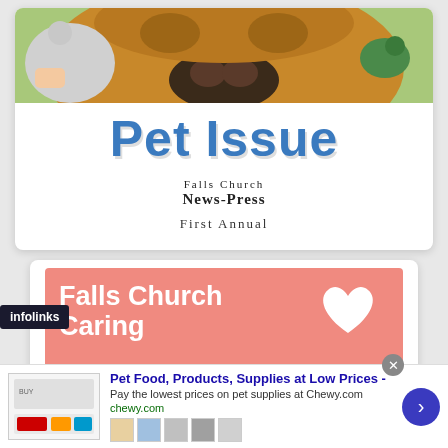[Figure (photo): Close-up photo of a dog's face and nose with a small cat/kitten and a bird visible, person's hands holding the animals]
Pet Issue
[Figure (logo): Falls Church News-Press logo in gothic/blackletter style]
First Annual
[Figure (photo): Pink banner with text 'Falls Church' and 'Caring' with a white heart shape]
infolinks
[Figure (screenshot): Advertisement: Pet Food, Products, Supplies at Low Prices - Pay the lowest prices on pet supplies at Chewy.com, chewy.com]